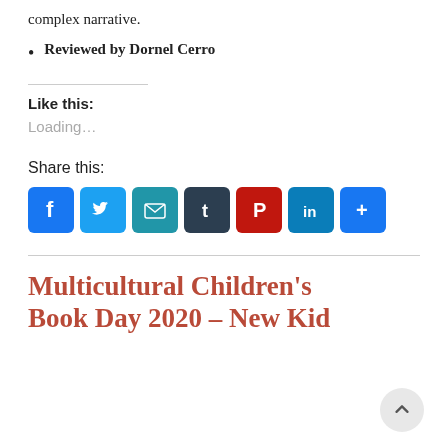complex narrative.
Reviewed by Dornel Cerro
Like this:
Loading...
Share this:
[Figure (infographic): Row of social sharing icon buttons: Facebook, Twitter, Email, Tumblr, Pinterest, LinkedIn, More/Share]
Multicultural Children's Book Day 2020 – New Kid